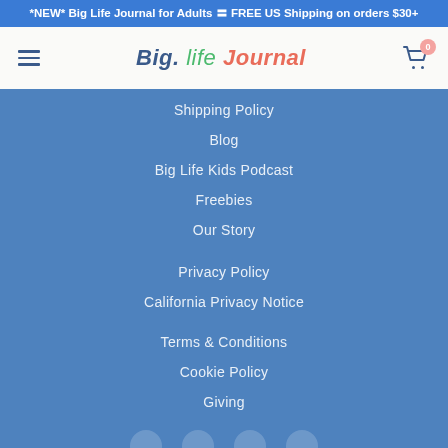*NEW* Big Life Journal for Adults 〓 FREE US Shipping on orders $30+
[Figure (logo): Big Life Journal logo with hamburger menu and cart icon with 0 badge]
Shipping Policy
Blog
Big Life Kids Podcast
Freebies
Our Story
Privacy Policy
California Privacy Notice
Terms & Conditions
Cookie Policy
Giving